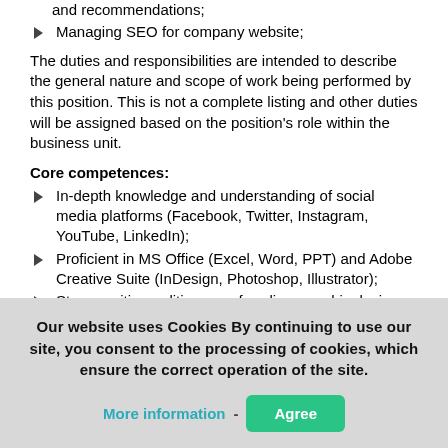and recommendations;
Managing SEO for company website;
The duties and responsibilities are intended to describe the general nature and scope of work being performed by this position. This is not a complete listing and other duties will be assigned based on the position's role within the business unit.
Core competences:
In-depth knowledge and understanding of social media platforms (Facebook, Twitter, Instagram, YouTube, LinkedIn);
Proficient in MS Office (Excel, Word, PPT) and Adobe Creative Suite (InDesign, Photoshop, Illustrator);
Strong writing, editing, proofreading, graphic design layout, and printing/publishing skills are essential;
Strong project management, time management, and
Our website uses Cookies By continuing to use our site, you consent to the processing of cookies, which ensure the correct operation of the site.